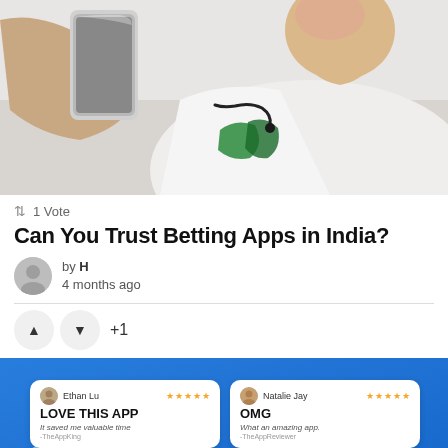[Figure (photo): A young man holding a smartphone, wearing a white t-shirt with a green graphic design and headphones around his neck. Shot from below against a light background.]
⇅ 1 Vote
Can You Trust Betting Apps in India?
by H
4 months ago
+1
[Figure (screenshot): Blue background with two white review cards. Left card: Ethan Lu, 5 stars, 'LOVE THIS APP', 'It saved me valuable time', TheAppKing. Right card: Natalie Jay, 5 stars, 'OMG', 'What an amazing app.', TheAppReviewer. Two phone mockups (blue and red) visible at bottom.]